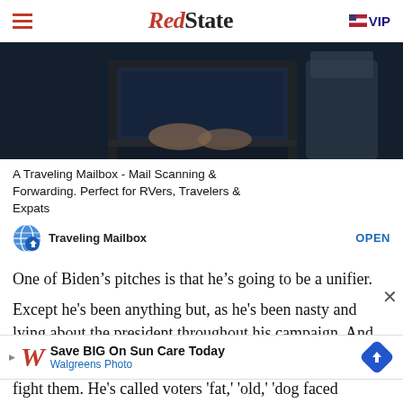RedState | VIP
[Figure (photo): Person using a laptop computer on an airplane tray table, dark moody lighting]
A Traveling Mailbox - Mail Scanning & Forwarding. Perfect for RVers, Travelers & Expats
Traveling Mailbox  OPEN
One of Biden’s pitches is that he’s going to be a unifier.
Except he's been anything but, as he's been nasty and lying about the president throughout his campaign. And it's not only the president who Biden has attacked. He's the only candidate I think I've ever seen actually insult the people he's trying to get to vote for him and fight them. He's called voters 'fat,' 'old,' 'dog faced'